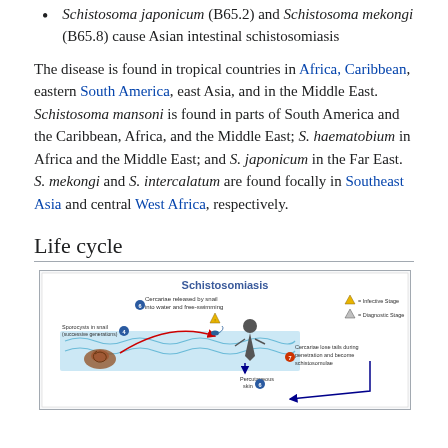Schistosoma japonicum (B65.2) and Schistosoma mekongi (B65.8) cause Asian intestinal schistosomiasis
The disease is found in tropical countries in Africa, Caribbean, eastern South America, east Asia, and in the Middle East. Schistosoma mansoni is found in parts of South America and the Caribbean, Africa, and the Middle East; S. haematobium in Africa and the Middle East; and S. japonicum in the Far East. S. mekongi and S. intercalatum are found focally in Southeast Asia and central West Africa, respectively.
Life cycle
[Figure (infographic): Life cycle diagram of Schistosomiasis showing cerceriae released by snail into water, free-swimming stage, penetration of human skin (Percutaneous skin), sporocysts in snail (successive generations), and cerceriae losing tails during penetration to become schistosomulae. Legend indicates Infective Stage (triangle) and Diagnostic Stage (triangle).]